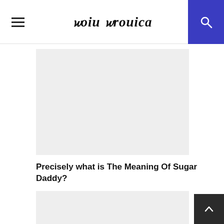Coin Cronica
[Figure (other): Gray placeholder image rectangle for article]
Precisely what is The Meaning Of Sugar Daddy?
[Figure (other): Gray placeholder image rectangle for second article]